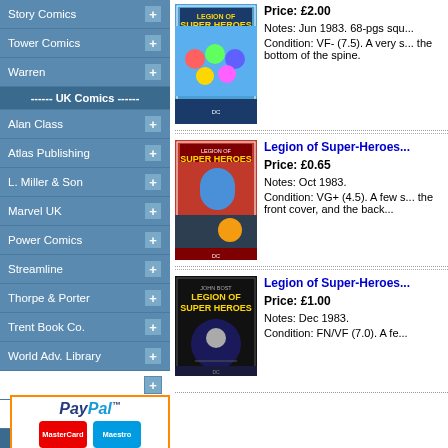Story Comics +
Tower Comics +
Warren +
------ UK Comics ------
Alan Class +
Atlas Publishing +
L. Miller & Son +
Marvel UK +
Power Comics +
Streamline +
Thorpe & Porter +
Trent Book Co. +
World Adv. Library +
2000AD related +
Other UK +
-- Australian Comics --
Cleland +
[Figure (logo): PayPal logo with MasterCard and Maestro card icons]
Price: £2.00
Notes: Jun 1983. 68-pgs squ...
Condition: VF- (7.5). A very s... the bottom of the spine.
[Figure (photo): Legion of Super-Heroes comic cover, Jun 1983, colorful group of heroes]
Legion of Super-Heroes...
Price: £0.65
Notes: Oct 1983.
Condition: VG+ (4.5). A few s... the front cover, and the back...
[Figure (photo): Legion of Super-Heroes comic cover, Oct 1983, action scene]
Legion of Super-Heroes...
Price: £1.00
Notes: Dec 1983.
Condition: FN/VF (7.0). A fe...
[Figure (photo): Legion of Super-Heroes comic cover, Dec 1983, dark background with hero]